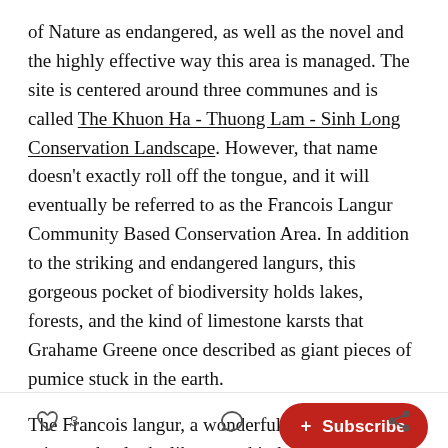of Nature as endangered, as well as the novel and the highly effective way this area is managed. The site is centered around three communes and is called The Khuon Ha - Thuong Lam - Sinh Long Conservation Landscape. However, that name doesn't exactly roll off the tongue, and it will eventually be referred to as the Francois Langur Community Based Conservation Area. In addition to the striking and endangered langurs, this gorgeous pocket of biodiversity holds lakes, forests, and the kind of limestone karsts that Grahame Greene once described as giant pieces of pumice stuck in the earth.
The Francois langur, a wonderfully p[articular] primate that looks like some kind of h[elmeted] warrior from Planet of the Apes. is the focus of
[Figure (other): Red Subscribe button overlay with plus sign and text '+ Subscribe']
Heart icon  3   Comment icon   Share icon